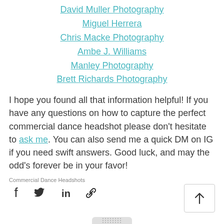David Muller Photography
Miguel Herrera
Chris Macke Photography
Ambe J. Williams
Manley Photography
Brett Richards Photography
I hope you found all that information helpful!  If you have any questions on how to capture the perfect commercial dance headshot please don't hesitate to ask me.  You can also send me a quick DM on IG if you need swift answers.  Good luck, and may the odd's forever be in your favor!
Commercial Dance Headshots